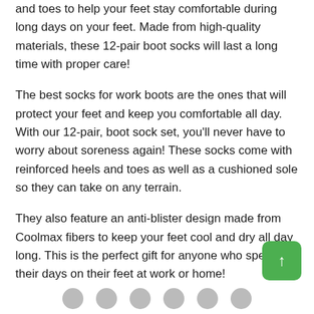and toes to help your feet stay comfortable during long days on your feet. Made from high-quality materials, these 12-pair boot socks will last a long time with proper care!
The best socks for work boots are the ones that will protect your feet and keep you comfortable all day. With our 12-pair, boot sock set, you'll never have to worry about soreness again! These socks come with reinforced heels and toes as well as a cushioned sole so they can take on any terrain.
They also feature an anti-blister design made from Coolmax fibers to keep your feet cool and dry all day long. This is the perfect gift for anyone who spends their days on their feet at work or home!